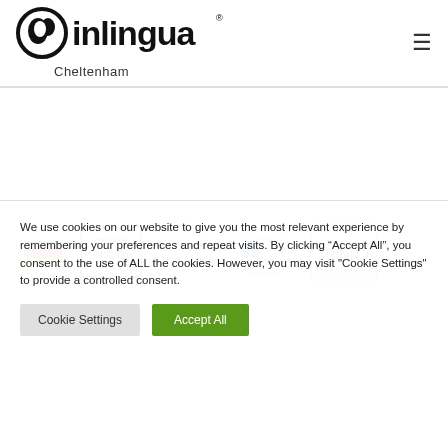[Figure (logo): inlingua Cheltenham logo with hamburger menu icon in header]
[Figure (logo): Accreditation logos: German language school badge, MEMBER ENGLISH badge, BUSINESS ENGLISH UK, BRITISH COUNCIL, TRINITY COLLEGE LONDON]
We use cookies on our website to give you the most relevant experience by remembering your preferences and repeat visits. By clicking “Accept All”, you consent to the use of ALL the cookies. However, you may visit "Cookie Settings" to provide a controlled consent.
Cookie Settings
Accept All